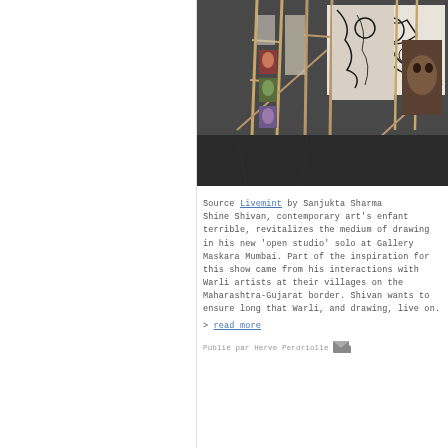[Figure (photo): Interior of an art gallery showing large wooden frame structures holding large-scale drawings and artworks. The space appears industrial with a concrete floor. Large expressive drawings are visible on canvas panels leaning against and hung on wooden easel-like frames.]
Source Livemint by Sanjukta Sharma Shine Shivan, contemporary art's enfant terrible, revitalizes the medium of drawing in his new 'open studio' solo at Gallery Maskara Mumbai. Part of the inspiration for this show came from his interactions with Warli artists at their villages on the Maharashtra-Gujarat border. Shivan wants to ensure long that Warli, and drawing, live on.
> read more
Publié par Herve Perdriolle